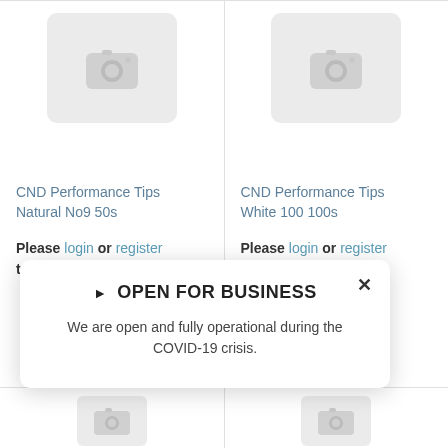[Figure (photo): Product image placeholder with camera icon for CND Performance Tips Natural No9 50s]
CND Performance Tips Natural No9 50s
Please login or register to view pricing.
[Figure (photo): Product image placeholder with camera icon for CND Performance Tips White 100 100s]
CND Performance Tips White 100 100s
Please login or register to view pricing.
▶ OPEN FOR BUSINESS
We are open and fully operational during the COVID-19 crisis.